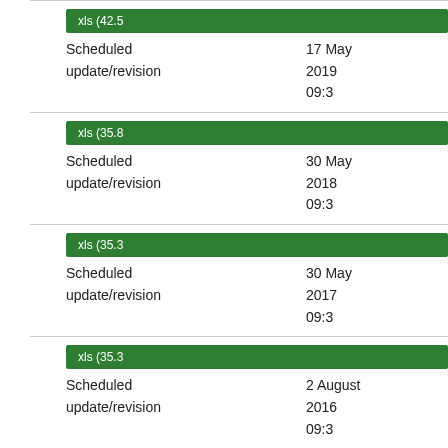| File | Type | Date |
| --- | --- | --- |
| xls (42.5) | Scheduled update/revision | 17 May 2019 09:30 |
| xls (35.8) | Scheduled update/revision | 30 May 2018 09:30 |
| xls (35.3) | Scheduled update/revision | 30 May 2017 09:30 |
| xls (35.3) | Scheduled update/revision | 2 August 2016 09:30 |
Important notes and usage information
...